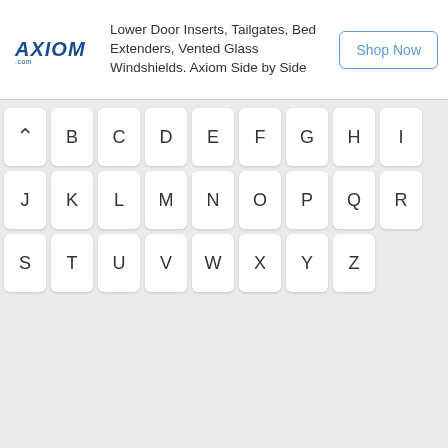[Figure (screenshot): Axiom advertisement banner with logo, text about Lower Door Inserts, Tailgates, Bed Extenders, Vented Glass Windshields, Axiom Side by Side, and a Shop Now button]
[Figure (screenshot): Alphabetical navigation grid with letter buttons arranged in rows: row 1 has caret/up arrow, B, C, D, E, F, G, H, I; row 2 has J, K, L, M, N, O, P, Q, R; row 3 has S, T, U, V, W, X, Y, Z]